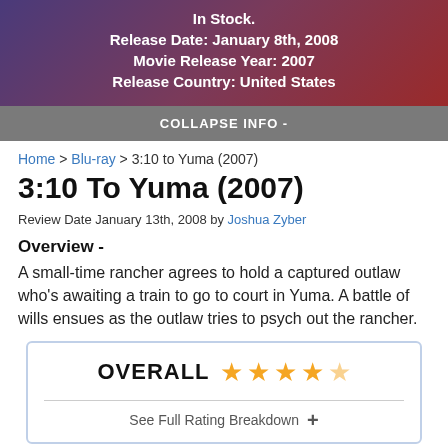In Stock.
Release Date: January 8th, 2008
Movie Release Year: 2007
Release Country: United States
COLLAPSE INFO -
Home > Blu-ray > 3:10 to Yuma (2007)
3:10 To Yuma (2007)
Review Date January 13th, 2008 by Joshua Zyber
Overview -
A small-time rancher agrees to hold a captured outlaw who's awaiting a train to go to court in Yuma. A battle of wills ensues as the outlaw tries to psych out the rancher.
[Figure (infographic): Overall rating box showing 4.5 out of 5 stars with a 'See Full Rating Breakdown' link]